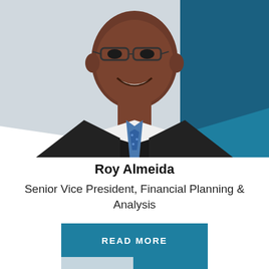[Figure (photo): Professional headshot of Roy Almeida, a man wearing glasses, dark suit, white shirt, and blue patterned tie, smiling, against a gray and blue background with a teal geometric shape overlay]
Roy Almeida
Senior Vice President, Financial Planning & Analysis
READ MORE